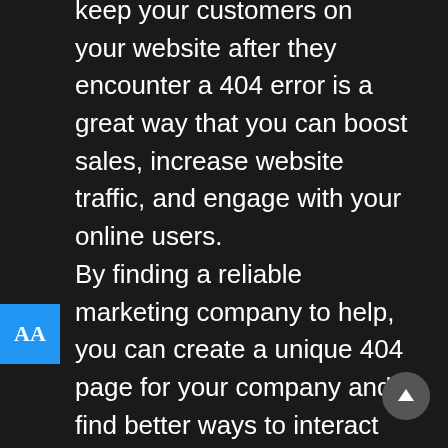keep your customers on your website after they encounter a 404 error is a great way that you can boost sales, increase website traffic, and engage with your online users.
By finding a reliable marketing company to help, you can create a unique 404 page for your company and find better ways to interact with your users.
Do you want to see why you should fire your current social media experts and turn to the pros at Drive Social Media? Contact our team today to book a